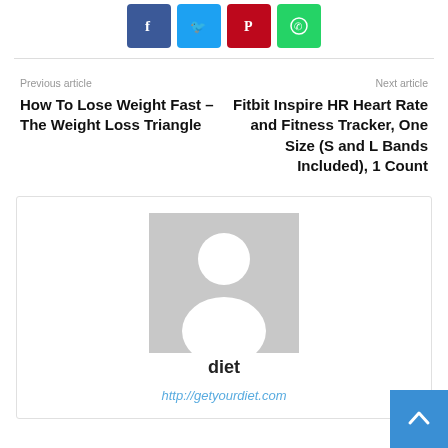[Figure (infographic): Social sharing buttons: Facebook (blue), Twitter (light blue), Pinterest (red), WhatsApp (green)]
Previous article
How To Lose Weight Fast – The Weight Loss Triangle
Next article
Fitbit Inspire HR Heart Rate and Fitness Tracker, One Size (S and L Bands Included), 1 Count
[Figure (photo): Default user avatar placeholder image — gray background with white silhouette of a person]
diet
http://getyourdiet.com